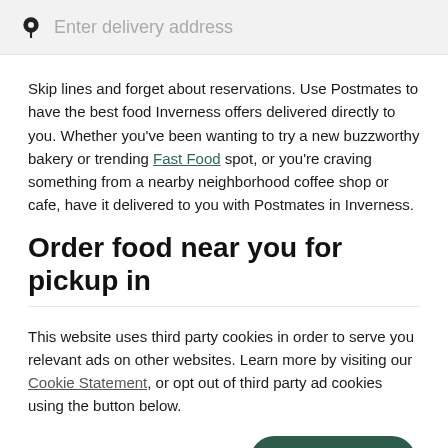[Figure (other): Search bar with location pin icon and placeholder text 'Enter delivery address']
Skip lines and forget about reservations. Use Postmates to have the best food Inverness offers delivered directly to you. Whether you've been wanting to try a new buzzworthy bakery or trending Fast Food spot, or you're craving something from a nearby neighborhood coffee shop or cafe, have it delivered to you with Postmates in Inverness.
Order food near you for pickup in
This website uses third party cookies in order to serve you relevant ads on other websites. Learn more by visiting our Cookie Statement, or opt out of third party ad cookies using the button below.